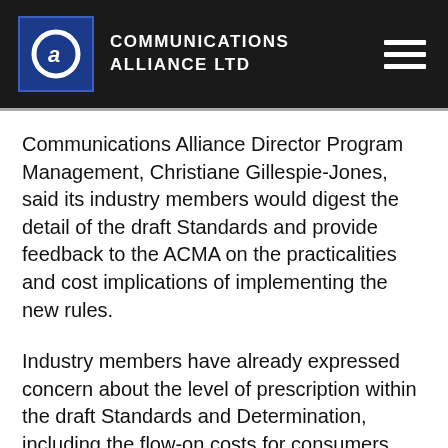Communications Alliance Ltd
Communications Alliance Director Program Management, Christiane Gillespie-Jones, said its industry members would digest the detail of the draft Standards and provide feedback to the ACMA on the practicalities and cost implications of implementing the new rules.
Industry members have already expressed concern about the level of prescription within the draft Standards and Determination, including the flow-on costs for consumers.
Ms Gillespie-Jones said that the prescriptive advertising provisions in the draft Consumer…